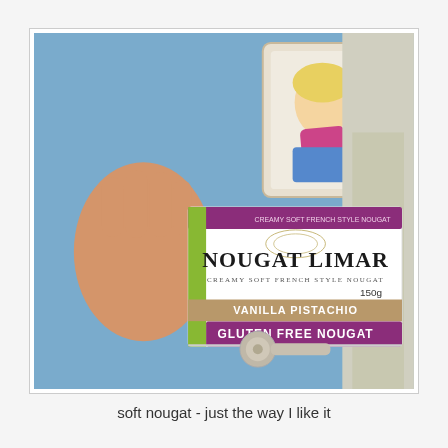[Figure (photo): A hand holding a box of Nougat Limar Vanilla Pistachio Gluten Free Nougat (150g), photographed in front of a blue background with a decorative mirror and artwork visible. The box is white with purple, gold, and green accents, branded 'NOUGAT LIMAR CREAMY SOFT FRENCH STYLE NOUGAT'.]
soft nougat - just the way I like it